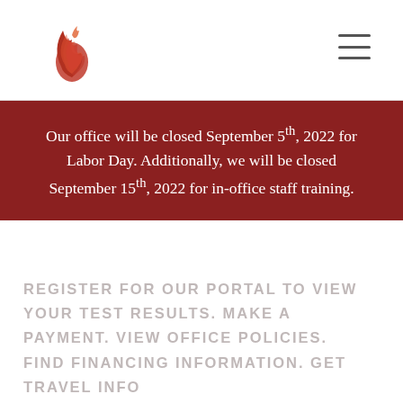[Figure (logo): Red swirl/flame logo mark in dark red/orange tones]
Our office will be closed September 5th, 2022 for Labor Day. Additionally, we will be closed September 15th, 2022 for in-office staff training.
REGISTER FOR OUR PORTAL TO VIEW YOUR TEST RESULTS. MAKE A PAYMENT. VIEW OFFICE POLICIES. FIND FINANCING INFORMATION. GET TRAVEL INFO